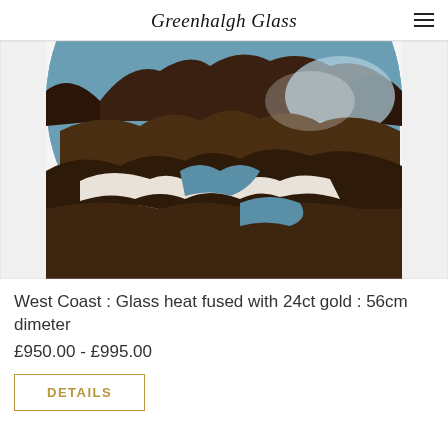Greenhalgh Glass
[Figure (photo): A semicircular fused glass artwork titled 'West Coast', featuring landscape imagery with dark brown mountain silhouettes, blue river/water areas and swirling white paths, heat fused with 24ct gold, 56cm diameter.]
West Coast : Glass heat fused with 24ct gold : 56cm dimeter
£950.00 - £995.00
DETAILS